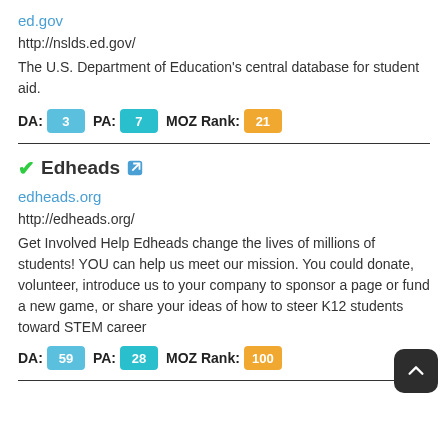ed.gov
http://nslds.ed.gov/
The U.S. Department of Education's central database for student aid.
DA: 3 PA: 7 MOZ Rank: 21
Edheads
edheads.org
http://edheads.org/
Get Involved Help Edheads change the lives of millions of students! YOU can help us meet our mission. You could donate, volunteer, introduce us to your company to sponsor a page or fund a new game, or share your ideas of how to steer K12 students toward STEM career
DA: 59 PA: 28 MOZ Rank: 100